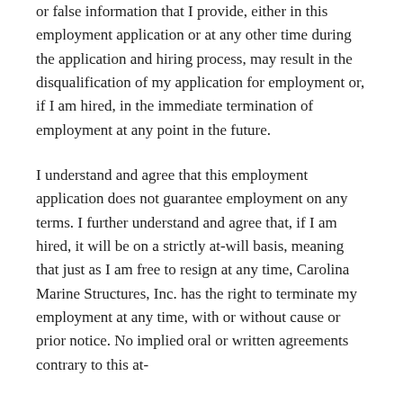or false information that I provide, either in this employment application or at any other time during the application and hiring process, may result in the disqualification of my application for employment or, if I am hired, in the immediate termination of employment at any point in the future.
I understand and agree that this employment application does not guarantee employment on any terms. I further understand and agree that, if I am hired, it will be on a strictly at-will basis, meaning that just as I am free to resign at any time, Carolina Marine Structures, Inc. has the right to terminate my employment at any time, with or without cause or prior notice. No implied oral or written agreements contrary to this at-